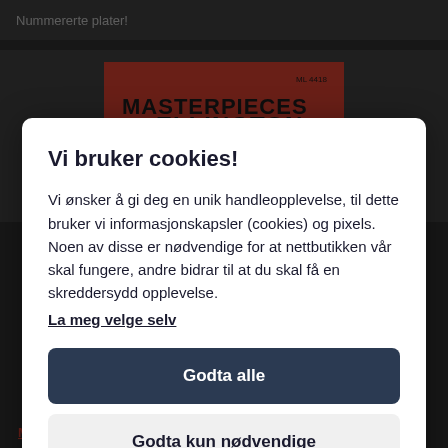Nummererte plater!
[Figure (photo): Red album cover for 'Masterpieces by Ellington', ML 4418]
Vi bruker cookies!
Vi ønsker å gi deg en unik handleopplevelse, til dette bruker vi informasjonskapsler (cookies) og pixels. Noen av disse er nødvendige for at nettbutikken vår skal fungere, andre bidrar til at du skal få en skreddersydd opplevelse.
La meg velge selv
Godta alle
Godta kun nødvendige
Midlertidig utsolgt!